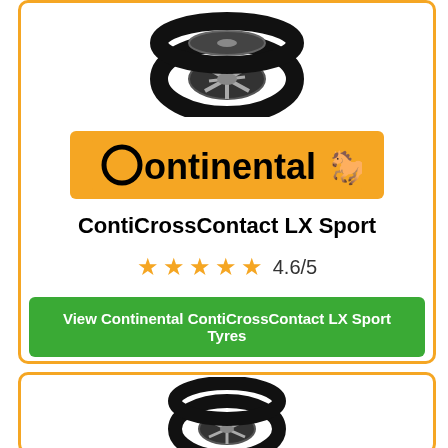[Figure (photo): Continental ContiCrossContact LX Sport tyre product image, top card]
[Figure (logo): Continental brand logo on orange background with rearing horse]
ContiCrossContact LX Sport
4.6/5 star rating (5 stars shown)
View Continental ContiCrossContact LX Sport Tyres
Prices from £146.50
[Figure (photo): Second tyre product image, partially visible at bottom of page]